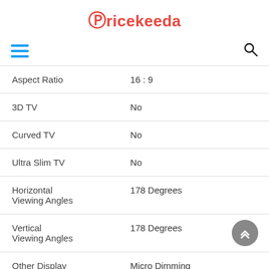Pricekeeda
| Feature | Value |
| --- | --- |
| Aspect Ratio | 16 : 9 |
| 3D TV | No |
| Curved TV | No |
| Ultra Slim TV | No |
| Horizontal Viewing Angles | 178 Degrees |
| Vertical Viewing Angles | 178 Degrees |
| Other Display Features | Micro Dimming |